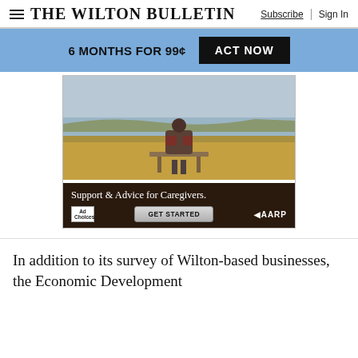The Wilton Bulletin | Subscribe | Sign In
6 MONTHS FOR 99¢  ACT NOW
[Figure (photo): Advertisement from AARP showing a person sitting on a bench facing a lake, with text 'Support & Advice for Caregivers.' and a 'GET STARTED' button]
In addition to its survey of Wilton-based businesses, the Economic Development